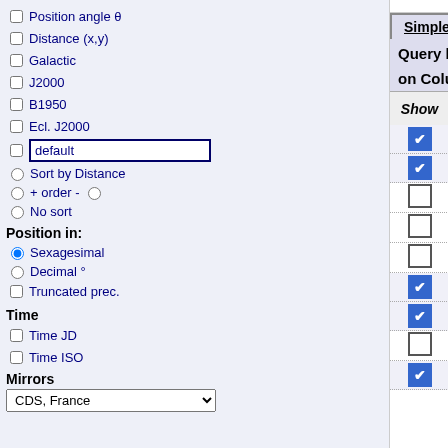Position angle θ
Distance (x,y)
Galactic
J2000
B1950
Ecl. J2000
default
Sort by Distance
+ order -
No sort
Position in:
Sexagesimal
Decimal °
Truncated prec.
Time
Time JD
Time ISO
Mirrors
CDS, France
Simple Constraint | List Of Constraints
Query by Constraints applied on Columns (Output Order: + -)
| Show | Sort | Column | Clear |  |
| --- | --- | --- | --- | --- |
| ✔ | ○ | RAJ2000 |  |  |
| ✔ | ○ | DEJ2000 |  |  |
| □ | ○ | errMaj |  |  |
| □ | ○ | errMin |  |  |
| □ | ○ | errPA |  |  |
| ✔ | ○ | 2MASS |  |  |
| ✔ | ○ | Jmag |  |  |
| □ | ○ | Jcmsig |  |  |
| ✔ | ○ | e_Jmag |  |  |